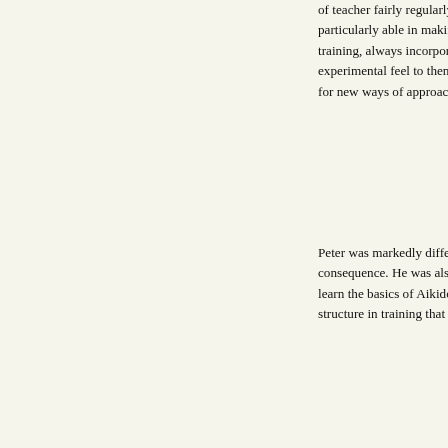of teacher fairly regularly, but Mel ended up being the one who taught most often. He was a high school teacher, which meant he was particularly able in making Aikido accessible to my fellow students and me. Looking back, I realize he had a rather scattered approach to training, always incorporating something new he'd read or seen about Aikido into our practice. As a result, classes with Mel often had an experimental feel to them. I did very much enjoy Mel and his training methods, however - especially his constant searching for new knowledge, for new ways of approaching Aikido training.
Peter was markedly different in his teaching style. He moved stiffly, I remember, and his technique was uncomfortable to take as a consequence. He was also less easy than Mel in the role of teacher. His training style was very consistent, however, and so we were able to learn the basics of Aikido movement and technique from him quite quickly. He wasn't inventive or adventurous like Mel, but he did offer a structure in training that greatly facilitated the development of our Aikido.
Don only taught once, maybe twice a week (and sometimes less) even though he was the chief instructor of the dojo. I most appreciated Don's eagerness to practice hard. Although we trained very vigorously with him, there was never a sense that he was wanting to hurt us or that he had something to prove. Don just wanted to have strong technique, and...